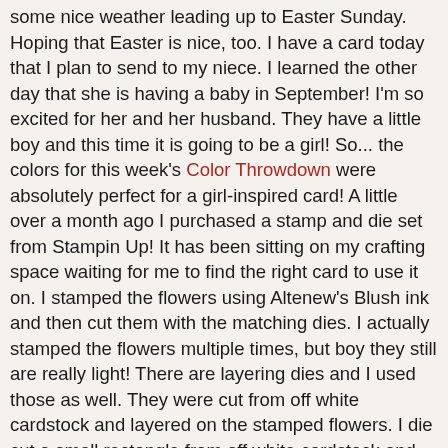Hello!  Hope you have a lovely week.  We have been having some nice weather leading up to Easter Sunday.  Hoping that Easter is nice, too.  I have a card today that I plan to send to my niece.  I learned the other day that she is having a baby in September!  I'm so excited for her and her husband.  They have a little boy and this time it is going to be a girl!  So... the colors for this week's Color Throwdown were absolutely perfect for a girl-inspired card!   A little over a month ago I purchased a stamp and die set from Stampin Up!  It has been sitting on my crafting space waiting for me to find the right card to use it on.  I stamped the flowers using Altenew's Blush ink and then cut them with the matching dies.  I actually stamped the flowers multiple times, but boy they still are really light!  There are layering dies and I used those as well.  They were cut from off white cardstock and layered on the stamped flowers.  I die cut a small rectangle from off white cardstock and stamped the sentiments from the set in a darker pink and black.  The leaves were die cut from light gray cardstock.  I added the strip down the side using one of my favorite Stampin Up! sets called Kind of Eclectic.   I layered everything up on the white cardstock panel and then finished with pearls to the centers of each flower.  The layout is based on this week's Freshly Made